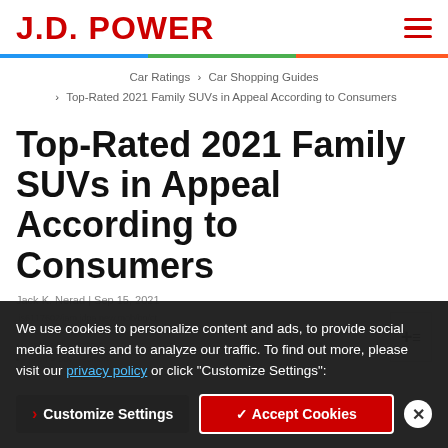J.D. POWER
Car Ratings > Car Shopping Guides > Top-Rated 2021 Family SUVs in Appeal According to Consumers
Top-Rated 2021 Family SUVs in Appeal According to Consumers
We use cookies to personalize content and ads, to provide social media features and to analyze our traffic. To find out more, please visit our privacy policy or click "Customize Settings":